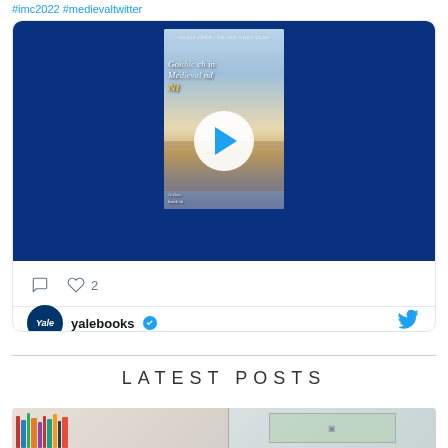#imc2022 #medievaltwitter
[Figure (screenshot): Embedded tweet card from @yalebooks (verified) showing a video thumbnail of a book cover on a dark blue background with a play button overlay. Below the video are comment and like icons (2 likes). The author row shows Yale logo, 'yalebooks' with verified badge, and Twitter bird icon.]
LATEST POSTS
[Figure (photo): Photo strip showing interior room with bookshelves on the left half and a window/garden view on the right half.]